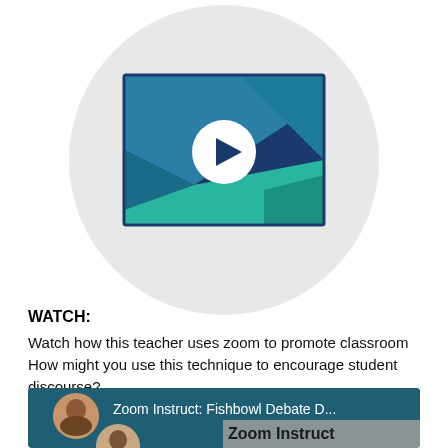[Figure (illustration): A circular light gray background containing a video player thumbnail icon. The thumbnail is a rectangle with a dark navy border filled with diagonal geometric shapes in teal/cyan and dark teal colors. In the center of the thumbnail is a white circle with a dark navy right-pointing play triangle inside.]
WATCH:
Watch how this teacher uses zoom to promote classroom How might you use this technique to encourage student discourse?
[Figure (screenshot): A screenshot of a Zoom video call interface showing a woman's circular profile photo on the left against a dark teal/blue background. Text reads 'Zoom Instruct: Fishbowl Debate D...' and overlapping gray text reads 'Zoom Instruct'. A second person's circular profile photo partially visible at the bottom.]